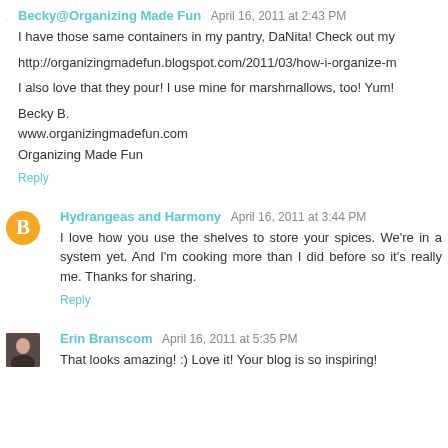Becky@Organizing Made Fun  April 16, 2011 at 2:43 PM
I have those same containers in my pantry, DaNita! Check out my
http://organizingmadefun.blogspot.com/2011/03/how-i-organize-m
I also love that they pour! I use mine for marshmallows, too! Yum!
Becky B.
www.organizingmadefun.com
Organizing Made Fun
Reply
Hydrangeas and Harmony  April 16, 2011 at 3:44 PM
I love how you use the shelves to store your spices. We're in a system yet. And I'm cooking more than I did before so it's really me. Thanks for sharing.
Reply
Erin Branscom  April 16, 2011 at 5:35 PM
That looks amazing! :) Love it! Your blog is so inspiring!